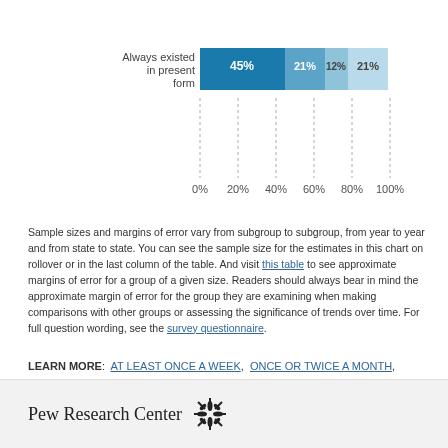[Figure (stacked-bar-chart): ]
Sample sizes and margins of error vary from subgroup to subgroup, from year to year and from state to state. You can see the sample size for the estimates in this chart on rollover or in the last column of the table. And visit this table to see approximate margins of error for a group of a given size. Readers should always bear in mind the approximate margin of error for the group they are examining when making comparisons with other groups or assessing the significance of trends over time. For full question wording, see the survey questionnaire.
LEARN MORE: AT LEAST ONCE A WEEK, ONCE OR TWICE A MONTH, SEVERAL TIMES A YEAR, SELDOM/NEVER
Pew Research Center